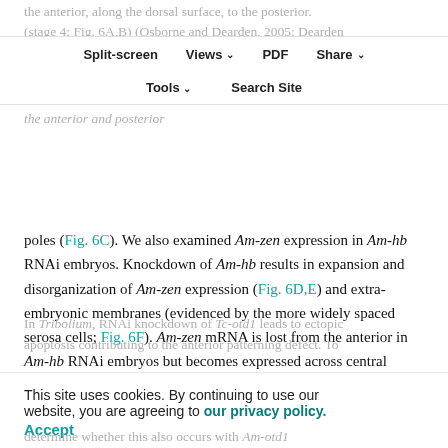the anterior, along the dorsal surface, to the posterior. (stage 4; Fig. 6A,B) (Osborne and Dearden, 2005; Dearden et al., 2006). In Am-otd1 RNAi embryos, Am-zen RNA expression is lost from only the anterior and posterior poles (Fig. 6C).
Split-screen | Views | PDF | Share | Tools | Search Site
poles (Fig. 6C). We also examined Am-zen expression in Am-hb RNAi embryos. Knockdown of Am-hb results in expansion and disorganization of Am-zen expression (Fig. 6D,E) and extra-embryonic membranes (evidenced by the more widely spaced serosa cells; Fig. 6F). Am-zen mRNA is lost from the anterior in Am-hb RNAi embryos but becomes expressed across central regions and expanded dorsally. Both Am-otd1 and Am-hb thus contribute to the regulation of Am-zen and extra-embryonic membrane patterning.
This site uses cookies. By continuing to use our website, you are agreeing to our privacy policy. Accept
In Tribolium, RNAi knockdown of Tc-otd1 leads to ectopic apoptosis contributing to the anterior patterning defect. To determine whether this also occurs with Am-otd1